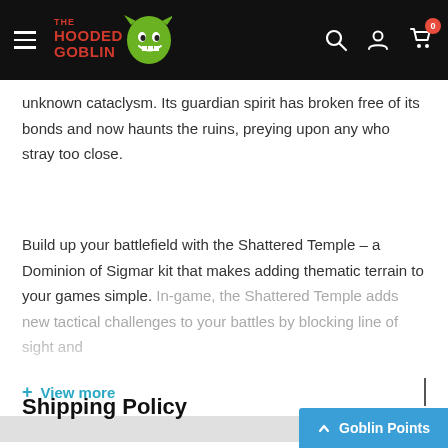The Hooded Goblin - navigation header
unknown cataclysm. Its guardian spirit has broken free of its bonds and now haunts the ruins, preying upon any who stray too close.
Build up your battlefield with the Shattered Temple – a Dominion of Sigmar kit that makes adding thematic terrain to your games simple. In-game, the Shattered Temple adds new tactical challenges to your battles by blocking line of sight and
+ View more
Shipping Policy